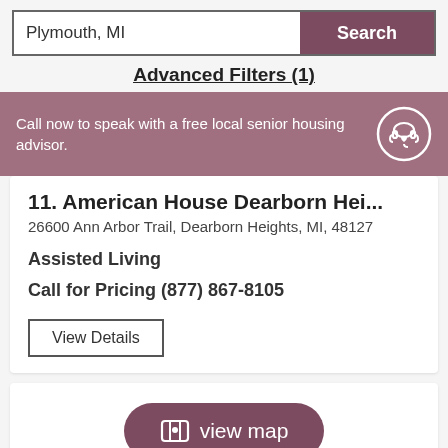Plymouth, MI
Search
Advanced Filters (1)
Call now to speak with a free local senior housing advisor.
11. American House Dearborn Hei...
26600 Ann Arbor Trail, Dearborn Heights, MI, 48127
Assisted Living
Call for Pricing (877) 867-8105
View Details
view map